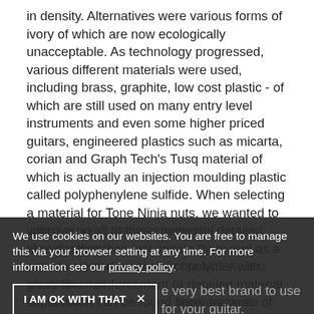in density. Alternatives were various forms of ivory of which are now ecologically unacceptable. As technology progressed, various different materials were used, including brass, graphite, low cost plastic - of which are still used on many entry level instruments and even some higher priced guitars, engineered plastics such as micarta, corian and Graph Tech's Tusq material of which is actually an injection moulding plastic called polyphenylene sulfide. When selecting a material for Tone Ninja nuts, we wanted to improve on all of these materials detailed above rather than just imitate them and as a result, selected an acetal copolymer with glass fibre reinforcement (a detailed material explanation can be found here) because of it's high stiffness, low coefficient
We use cookies on our websites. You are free to manage this via your browser setting at any time. For more information see our privacy policy.
with a product that is engineered, manufactured, tested and packaged all in the U.S.A. and you know that To I AM OK WITH THAT X the very best brand to use for your guitar.